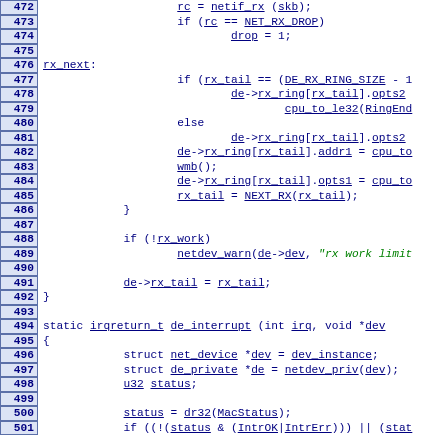[Figure (screenshot): Source code listing showing C kernel driver code, lines 472-501, with line numbers in blue bordered boxes on the left, code in Courier font with blue hyperlinked identifiers and green string literals.]